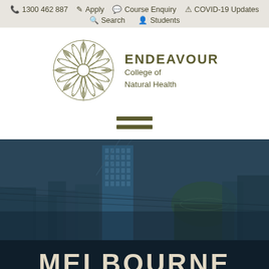1300 462 887 | Apply | Course Enquiry | COVID-19 Updates | Search | Students
[Figure (logo): Endeavour College of Natural Health logo with decorative compass-rose style medallion in olive/gold tones]
ENDEAVOUR College of Natural Health
[Figure (other): Hamburger menu icon (two horizontal bars)]
[Figure (photo): Melbourne city skyline photo with tall modern building and heritage dome structure, dark blue toned overlay]
MELBOURNE